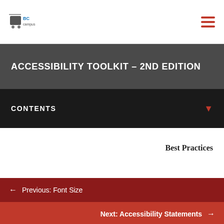BCcampus
ACCESSIBILITY TOOLKIT – 2ND EDITION
CONTENTS
Best Practices
← Previous: Font Size
Next: Accessibility Statements →